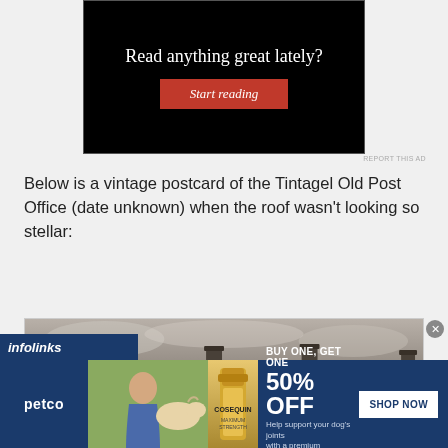[Figure (screenshot): Black background ad box with white serif text 'Read anything great lately?' and a red button labeled 'Start reading']
REPORT THIS AD
Below is a vintage postcard of the Tintagel Old Post Office (date unknown) when the roof wasn't looking so stellar:
[Figure (photo): Sepia/black-and-white vintage postcard showing rooftop chimneys and stone roof of Tintagel Old Post Office]
[Figure (screenshot): Infolinks bar and Petco advertisement: BUY ONE, GET ONE 50% OFF - Help support your dog's joints with a premium supplement. SHOP NOW button.]